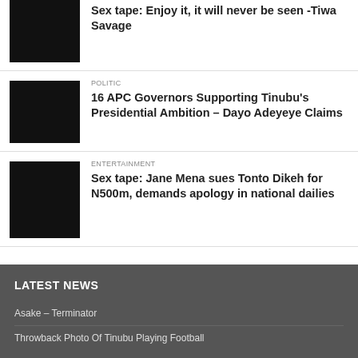Sex tape: Enjoy it, it will never be seen -Tiwa Savage
POLITIC
16 APC Governors Supporting Tinubu's Presidential Ambition – Dayo Adeyeye Claims
ENTERTAINMENT
Sex tape: Jane Mena sues Tonto Dikeh for N500m, demands apology in national dailies
LATEST NEWS
Asake – Terminator
Throwback Photo Of Tinubu Playing Football